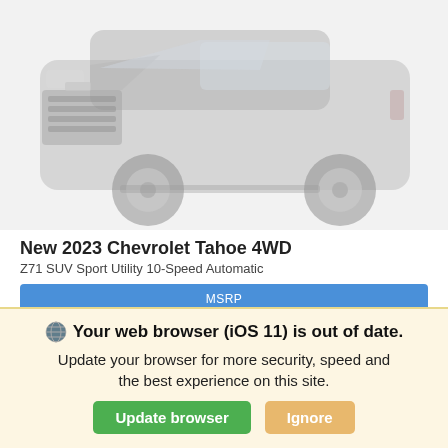[Figure (photo): Front view of a dark-colored 2023 Chevrolet Tahoe 4WD SUV, shown faded/blurred against a white background.]
New 2023 Chevrolet Tahoe 4WD
Z71 SUV Sport Utility 10-Speed Automatic
| MSRP | $67,590 |
| --- | --- |
| Automatic | 4WD | Gas V8 5.3L/ |
Your web browser (iOS 11) is out of date. Update your browser for more security, speed and the best experience on this site. Update browser  Ignore